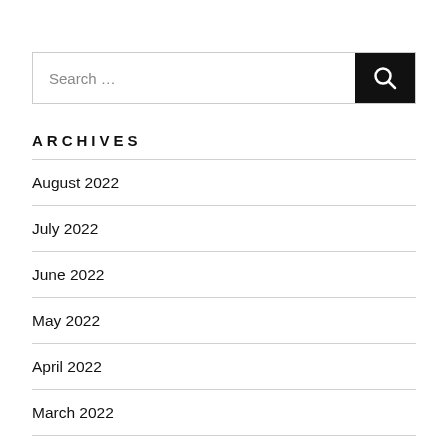[Figure (other): Search bar with text input placeholder 'Search …' and a black search button with magnifying glass icon]
ARCHIVES
August 2022
July 2022
June 2022
May 2022
April 2022
March 2022
February 2022